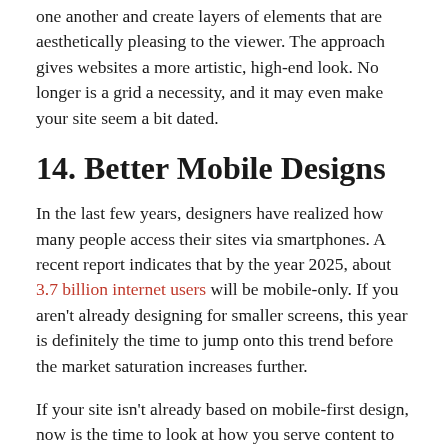one another and create layers of elements that are aesthetically pleasing to the viewer. The approach gives websites a more artistic, high-end look. No longer is a grid a necessity, and it may even make your site seem a bit dated.
14. Better Mobile Designs
In the last few years, designers have realized how many people access their sites via smartphones. A recent report indicates that by the year 2025, about 3.7 billion internet users will be mobile-only. If you aren't already designing for smaller screens, this year is definitely the time to jump onto this trend before the market saturation increases further.
If your site isn't already based on mobile-first design, now is the time to look at how you serve content to your readers and where they're actually accessing your site from, such as a phone or desktop computer.